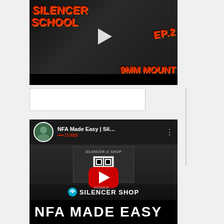[Figure (screenshot): Video thumbnail showing 'Silencer School EP.2 9MM Mount' with dark firearm background and red play button]
[Figure (screenshot): YouTube video embed for 'NFA Made Easy | Sil...' by IV888 channel, showing Silencer Shop kiosk with QR code, YouTube play button, and 'NFA MADE EASY' text overlay at the bottom]